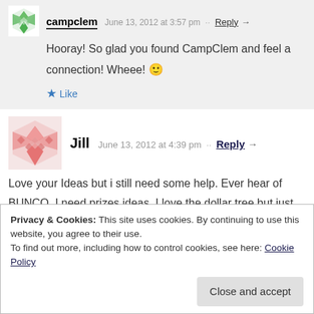campclem — June 13, 2012 at 3:57 pm · Reply →
Hooray! So glad you found CampClem and feel a connection! Wheee! 🙂
★ Like
Jill — June 13, 2012 at 4:39 pm · · Reply →
Love your Ideas but i still need some help. Ever hear of BUNCO. I need prizes ideas. I love the dollar tree but just not sure if it will look bad if that all I do. HELP!!!
Privacy & Cookies: This site uses cookies. By continuing to use this website, you agree to their use. To find out more, including how to control cookies, see here: Cookie Policy
Close and accept